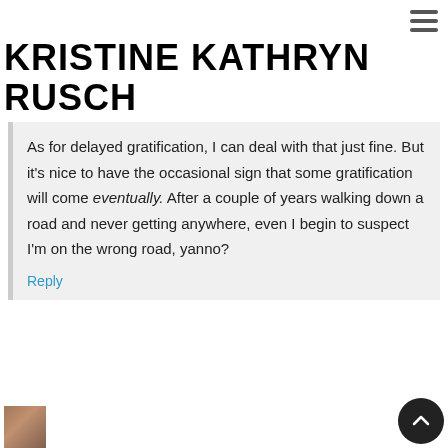[Figure (other): Hamburger menu icon (three horizontal lines) in the top-right corner]
KRISTINE KATHRYN RUSCH
As for delayed gratification, I can deal with that just fine. But it's nice to have the occasional sign that some gratification will come eventually. After a couple of years walking down a road and never getting anywhere, even I begin to suspect I'm on the wrong road, yanno?
Reply
[Figure (photo): Partial avatar/profile photo in the bottom-left corner]
[Figure (other): Scroll-to-top circular button with upward chevron in the bottom-right corner]